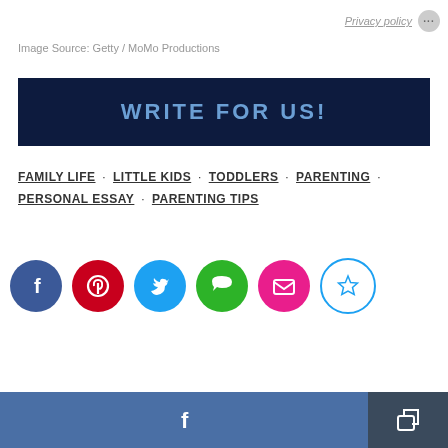Privacy policy
Image Source: Getty / MoMo Productions
[Figure (infographic): Dark navy banner with text WRITE FOR US! in blue-tinted bold uppercase letters]
FAMILY LIFE · LITTLE KIDS · TODDLERS · PARENTING · PERSONAL ESSAY · PARENTING TIPS
[Figure (infographic): Social sharing icons row: Facebook (blue), Pinterest (red), Twitter (light blue), Messenger (green), Email (pink), Save/star (white with cyan border)]
[Figure (infographic): Footer bar with Facebook share button (steel blue) on left and share/export icon button (dark blue-grey) on right]